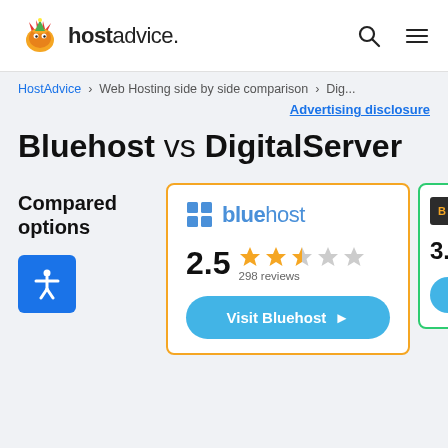hostadvice. [search icon] [menu icon]
HostAdvice > Web Hosting side by side comparison > Dig...
Advertising disclosure
Bluehost vs DigitalServer
Compared options
[Figure (screenshot): Bluehost hosting comparison card with 2.5 star rating (298 reviews) and Visit Bluehost button]
[Figure (screenshot): DigitalServer partial card with 3. rating and blue circle button, partially visible on right edge]